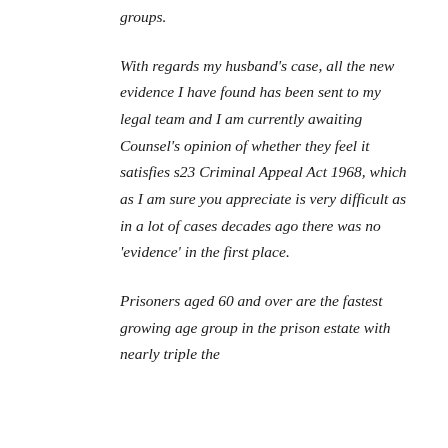groups.
With regards my husband's case, all the new evidence I have found has been sent to my legal team and I am currently awaiting Counsel's opinion of whether they feel it satisfies s23 Criminal Appeal Act 1968, which as I am sure you appreciate is very difficult as in a lot of cases decades ago there was no 'evidence' in the first place.
Prisoners aged 60 and over are the fastest growing age group in the prison estate with nearly triple the